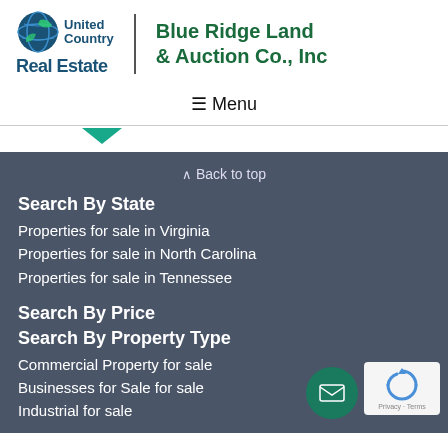[Figure (logo): United Country Real Estate logo with globe icon and Blue Ridge Land & Auction Co., Inc text]
☰ Menu
[Figure (illustration): Teal chevron/arrow down marker]
^ Back to top
Search By State
Properties for sale in Virginia
Properties for sale in North Carolina
Properties for sale in Tennessee
Search By Price
Search By Property Type
Commercial Property for sale
Businesses for Sale for sale
Industrial for sale